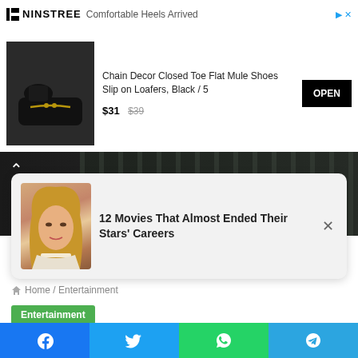[Figure (screenshot): Ad banner: NINSTREE logo with text 'Comfortable Heels Arrived', showing Chain Decor Closed Toe Flat Mule Shoes Slip on Loafers Black/5, priced $31 (was $39), with OPEN button]
[Figure (screenshot): Dark background section showing $1,200 price in green with up arrow chevron and blurred fence image]
[Figure (screenshot): Popup card with woman's photo (Jennifer Lopez-like), text '12 Movies That Almost Ended Their Stars' Careers' with X close button]
Home / Entertainment
Entertainment
Nathan Fillion defends Joss Whedon: 'I would work with him again in a heartbeat'
[Figure (screenshot): Social share bar with Facebook, Twitter, WhatsApp, and Telegram buttons]